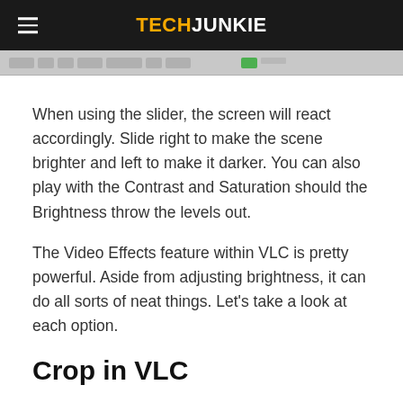TECHJUNKIE
[Figure (screenshot): Partial screenshot of a media player toolbar/controls bar]
When using the slider, the screen will react accordingly. Slide right to make the scene brighter and left to make it darker. You can also play with the Contrast and Saturation should the Brightness throw the levels out.
The Video Effects feature within VLC is pretty powerful. Aside from adjusting brightness, it can do all sorts of neat things. Let’s take a look at each option.
Crop in VLC
Select the Crop tab after adjusting the brightness in VLC and you will see a selection of four boxes at the main compass points. Add a value in one of them and VLC will automatically crop the video in using that value. It’s a